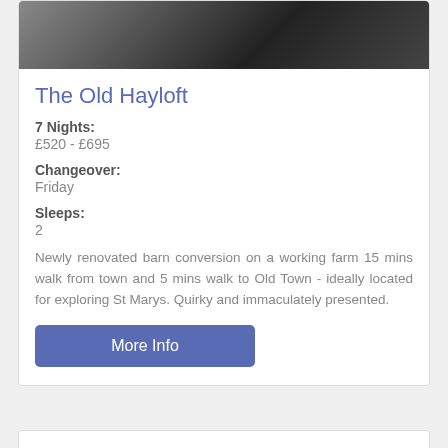[Figure (photo): Aerial/overhead photo of a dark tiled or paved surface, partial view of a building structure, dark tones]
The Old Hayloft
7 Nights:
£520 - £695
Changeover:
Friday
Sleeps:
2
Newly renovated barn conversion on a working farm 15 mins walk from town and 5 mins walk to Old Town - ideally located for exploring St Marys. Quirky and immaculately presented.